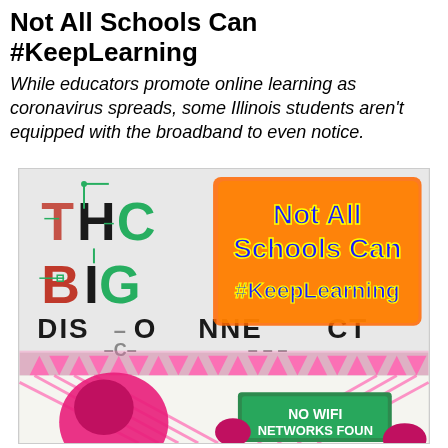Not All Schools Can #KeepLearning
While educators promote online learning as coronavirus spreads, some Illinois students aren't equipped with the broadband to even notice.
[Figure (illustration): Colorful illustration showing stylized text 'THE BIG DISCONNECT' with a glitch/circuit aesthetic. Overlay text reads 'Not All Schools Can #KeepLearning' in bold blue and yellow. Bottom portion shows a pink-colored cartoon character holding a green chalkboard sign reading 'NO WIFI NETWORKS FOUND', surrounded by pink zigzag and triangle patterns.]